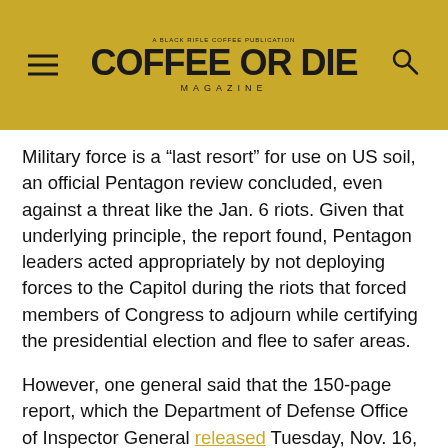COFFEE OR DIE MAGAZINE
Military force is a “last resort” for use on US soil, an official Pentagon review concluded, even against a threat like the Jan. 6 riots. Given that underlying principle, the report found, Pentagon leaders acted appropriately by not deploying forces to the Capitol during the riots that forced members of Congress to adjourn while certifying the presidential election and flee to safer areas.
However, one general said that the 150-page report, which the Department of Defense Office of Inspector General released Tuesday, Nov. 16, was off-base about his performance. Maj. Gen. William Walker, the former commander of the District of Columbia National Guard, said the report incorrectly accused him of not getting his troops — the only US military personnel assigned to security that day — to respond